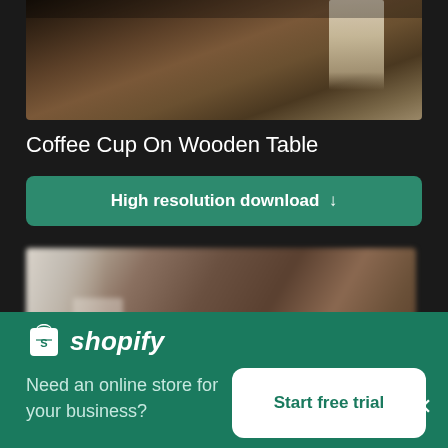[Figure (photo): Partial top view of a coffee cup on a wooden table, warm tones, dark background]
Coffee Cup On Wooden Table
High resolution download ↓
[Figure (photo): Blurred background photo of a coffee-related scene with warm browns and whites]
[Figure (logo): Shopify logo with shopping bag icon and italic 'shopify' wordmark in white]
Need an online store for your business?
Start free trial